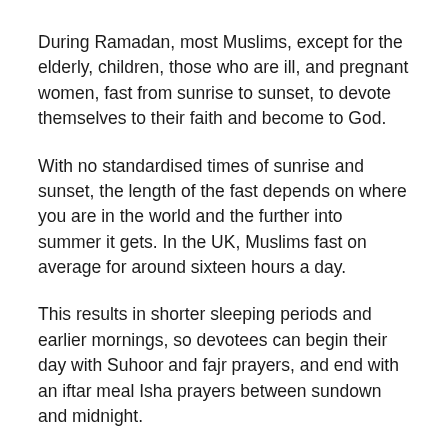During Ramadan, most Muslims, except for the elderly, children, those who are ill, and pregnant women, fast from sunrise to sunset, to devote themselves to their faith and become to God.
With no standardised times of sunrise and sunset, the length of the fast depends on where you are in the world and the further into summer it gets. In the UK, Muslims fast on average for around sixteen hours a day.
This results in shorter sleeping periods and earlier mornings, so devotees can begin their day with Suhoor and fajr prayers, and end with an iftar meal Isha prayers between sundown and midnight.